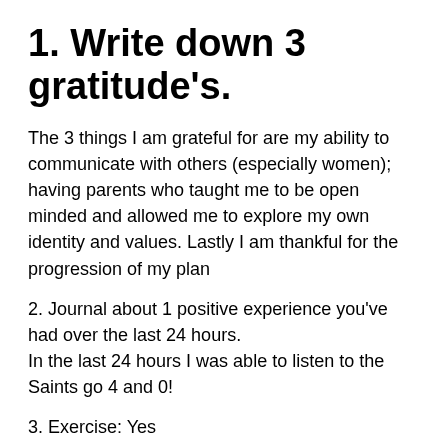1. Write down 3 gratitude's.
The 3 things I am grateful for are my ability to communicate with others (especially women); having parents who taught me to be open minded and allowed me to explore my own identity and values. Lastly I am thankful for the progression of my plan
2. Journal about 1 positive experience you've had over the last 24 hours.
In the last 24 hours I was able to listen to the Saints go 4 and 0!
3. Exercise: Yes